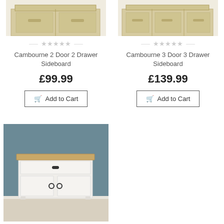[Figure (photo): Top half of a light oak Cambourne 2 Door 2 Drawer Sideboard on white background]
[Figure (photo): Top half of a light oak Cambourne 3 Door 3 Drawer Sideboard on white background]
★★★★★
Cambourne 2 Door 2 Drawer Sideboard
£99.99
Add to Cart
★★★★★
Cambourne 3 Door 3 Drawer Sideboard
£139.99
Add to Cart
[Figure (photo): White sideboard with oak top, one drawer and two doors with black handles, displayed against a blue-grey wall]